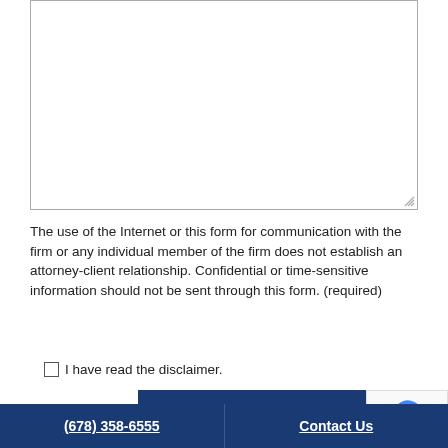The use of the Internet or this form for communication with the firm or any individual member of the firm does not establish an attorney-client relationship. Confidential or time-sensitive information should not be sent through this form. (required)
☐ I have read the disclaimer.
Click here to Send
(678) 358-6555  Contact Us